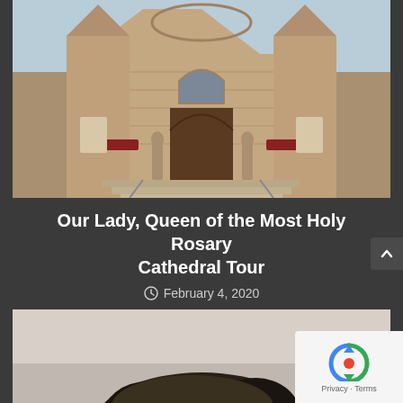[Figure (photo): Front facade of Our Lady, Queen of the Most Holy Rosary Cathedral — a large stone Gothic-style church with a central arched doorway, flanked towers, decorative stonework, and steps leading to the entrance.]
Our Lady, Queen of the Most Holy Rosary Cathedral Tour
February 4, 2020
[Figure (photo): Partial view of a person's head with dark hair, photographed from above/behind in a light-colored interior setting.]